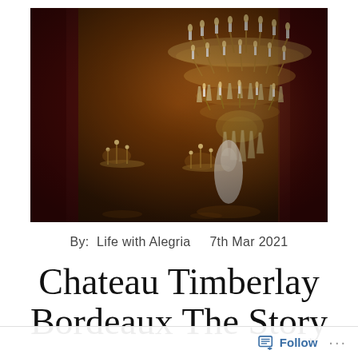[Figure (photo): Interior of an opulent chateau or palace room featuring a large ornate crystal chandelier with many lit candles, gold-decorated walls, burgundy/dark red curtains, and a figure in a white dress visible in the background. Warm golden ambient lighting from multiple chandeliers.]
By:  Life with Alegria    7th Mar 2021
Chateau Timberlay Bordeaux The Story